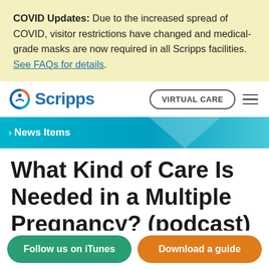COVID Updates: Due to the increased spread of COVID, visitor restrictions have changed and medical-grade masks are now required in all Scripps facilities. See FAQs for details.
[Figure (logo): Scripps Health logo with circular orange/teal/blue figure icon and blue 'Scripps' wordmark]
VIRTUAL CARE
› News Items
What Kind of Care Is Needed in a Multiple Pregnancy? (podcast)
Follow us on iTunes
Download a guide